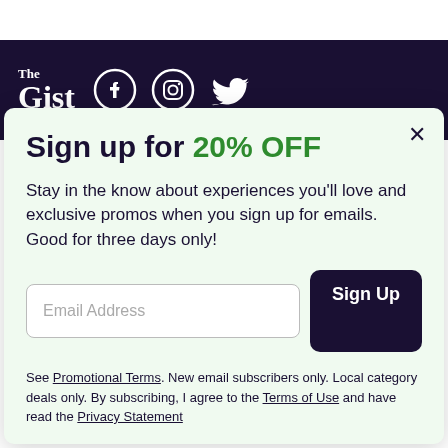[Figure (logo): The Gist logo with Facebook, Instagram, and Twitter social media icons on dark purple background]
Sign up for 20% OFF
Stay in the know about experiences you'll love and exclusive promos when you sign up for emails. Good for three days only!
Email Address [input field] Sign Up [button]
See Promotional Terms. New email subscribers only. Local category deals only. By subscribing, I agree to the Terms of Use and have read the Privacy Statement